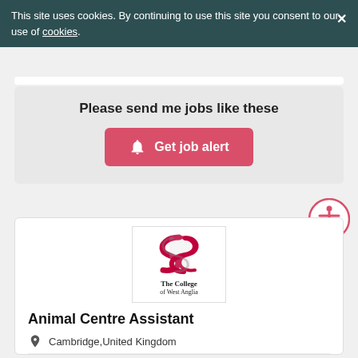This site uses cookies. By continuing to use this site you consent to our use of cookies.
Please send me jobs like these
Get job alert
[Figure (logo): The College of West Anglia logo — red swirl S shape above the text 'The College of West Anglia']
Animal Centre Assistant
Cambridge, United Kingdom
£5,000 Per Year
02 Sep 2022 23:59